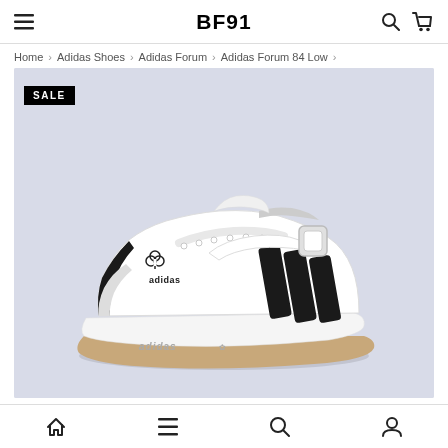BF91
Home > Adidas Shoes > Adidas Forum > Adidas Forum 84 Low >
[Figure (photo): Adidas Forum 84 Low sneaker in white with black three stripes and gum sole, displayed on a light grey background. A SALE badge appears in the top left corner of the image.]
Bottom navigation bar with home, menu, search, and account icons